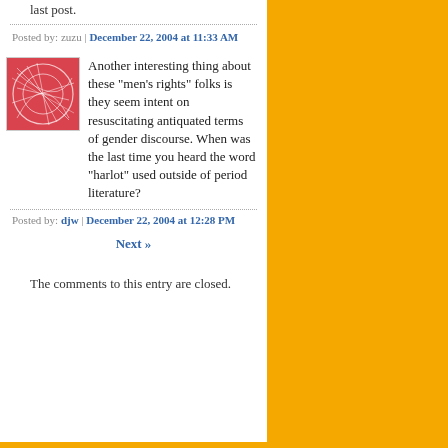last post.
Posted by: zuzu | December 22, 2004 at 11:33 AM
[Figure (illustration): Red and white abstract circular design avatar image]
Another interesting thing about these "men's rights" folks is they seem intent on resuscitating antiquated terms of gender discourse. When was the last time you heard the word "harlot" used outside of period literature?
Posted by: djw | December 22, 2004 at 12:28 PM
Next »
The comments to this entry are closed.